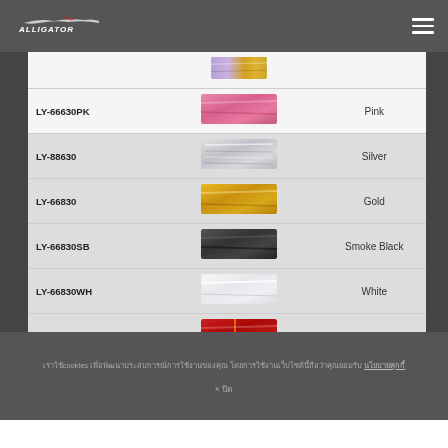ALLIGATOR
| Code | Swatch | Color |
| --- | --- | --- |
| LY-66630PK | [pink swatch] | Pink |
| LY-88630 | [silver swatch] | Silver |
| LY-66830 | [gold swatch] | Gold |
| LY-66830SB | [smoke black swatch] | Smoke Black |
| LY-66830WH | [white swatch] | White |
| LY-66830RD | [red swatch] | Red |
| LY-66830BL | [blue swatch] | Blue |
| LY-66830GS | [gold silver swatch] | Gold Silver |
เราใช้cookies เพื่อพัฒนาประสบการณ์การใช้งานของคุณ โดยการใช้งานเว็บไซต์นี้ถือว่าคุณยอมรับ นโยบายคุกกี้
× ปิด